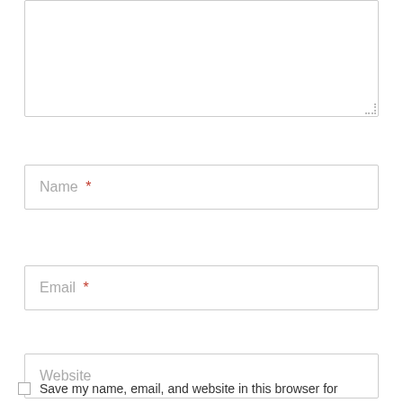[Figure (screenshot): A comment form textarea with a resize handle in the bottom-right corner]
Name *
Email *
Website
Save my name, email, and website in this browser for